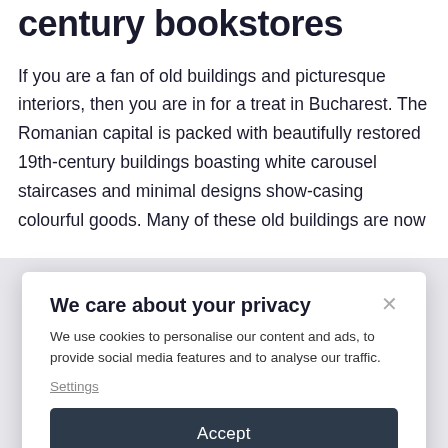century bookstores
If you are a fan of old buildings and picturesque interiors, then you are in for a treat in Bucharest. The Romanian capital is packed with beautifully restored 19th-century buildings boasting white carousel staircases and minimal designs show-casing colourful goods. Many of these old buildings are now
We care about your privacy
We use cookies to personalise our content and ads, to provide social media features and to analyse our traffic.
Settings
Accept